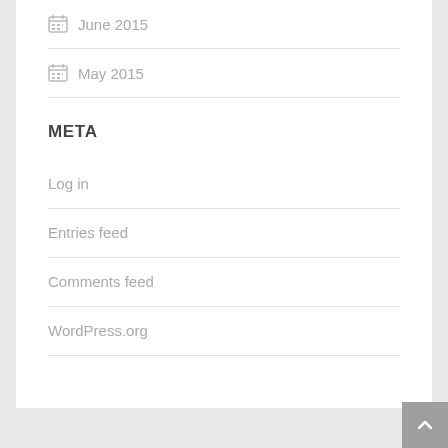June 2015
May 2015
META
Log in
Entries feed
Comments feed
WordPress.org